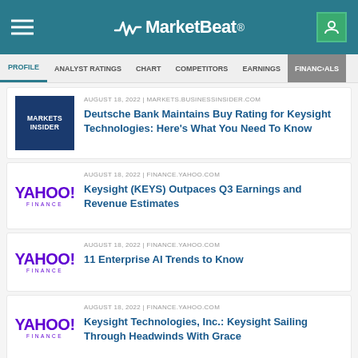MarketBeat
PROFILE | ANALYST RATINGS | CHART | COMPETITORS | EARNINGS | FINANCIALS
AUGUST 18, 2022 | MARKETS.BUSINESSINSIDER.COM
Deutsche Bank Maintains Buy Rating for Keysight Technologies: Here's What You Need To Know
AUGUST 18, 2022 | FINANCE.YAHOO.COM
Keysight (KEYS) Outpaces Q3 Earnings and Revenue Estimates
AUGUST 18, 2022 | FINANCE.YAHOO.COM
11 Enterprise AI Trends to Know
AUGUST 18, 2022 | FINANCE.YAHOO.COM
Keysight Technologies, Inc.: Keysight Sailing Through Headwinds With Grace